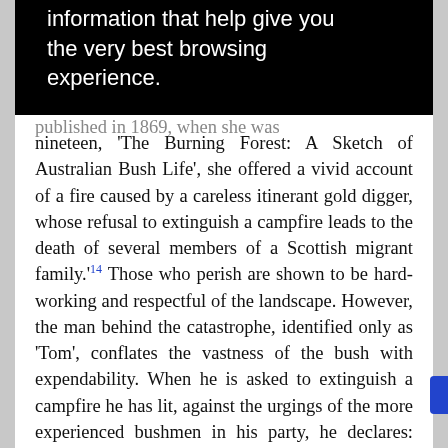[Figure (screenshot): Black banner with white text reading 'information that help give you the very best browsing experience.']
published in 1869, when she was nineteen, 'The Burning Forest: A Sketch of Australian Bush Life', she offered a vivid account of a fire caused by a careless itinerant gold digger, whose refusal to extinguish a campfire leads to the death of several members of a Scottish migrant family.14 Those who perish are shown to be hard-working and respectful of the landscape. However, the man behind the catastrophe, identified only as 'Tom', conflates the vastness of the bush with expendability. When he is asked to extinguish a campfire he has lit, against the urgings of the more experienced bushmen in his party, he declares: 'you're not so soft as to think I would take the trouble to put out a log when there are a